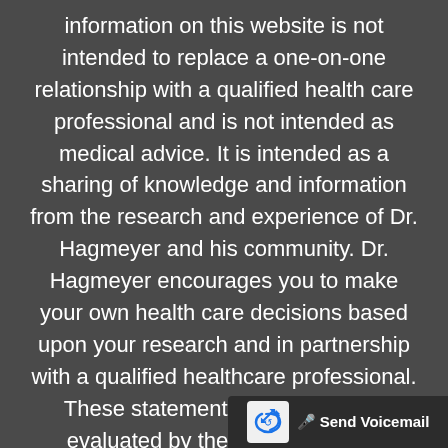information on this website is not intended to replace a one-on-one relationship with a qualified health care professional and is not intended as medical advice. It is intended as a sharing of knowledge and information from the research and experience of Dr. Hagmeyer and his community. Dr. Hagmeyer encourages you to make your own health care decisions based upon your research and in partnership with a qualified healthcare professional. These statements have not been evaluated by the Food and Drug Administration. Dr. Hagmeyer products are not intend